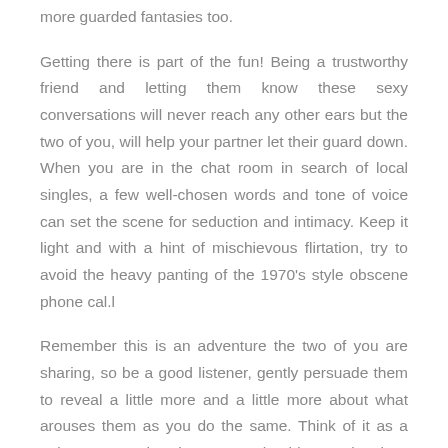more guarded fantasies too.
Getting there is part of the fun! Being a trustworthy friend and letting them know these sexy conversations will never reach any other ears but the two of you, will help your partner let their guard down. When you are in the chat room in search of local singles, a few well-chosen words and tone of voice can set the scene for seduction and intimacy. Keep it light and with a hint of mischievous flirtation, try to avoid the heavy panting of the 1970's style obscene phone cal.l
Remember this is an adventure the two of you are sharing, so be a good listener, gently persuade them to reveal a little more and a little more about what arouses them as you do the same. Think of it as a strip tease on the phone! You should never laugh at or make fun of their secret desires and tell them you expect the same. You can even